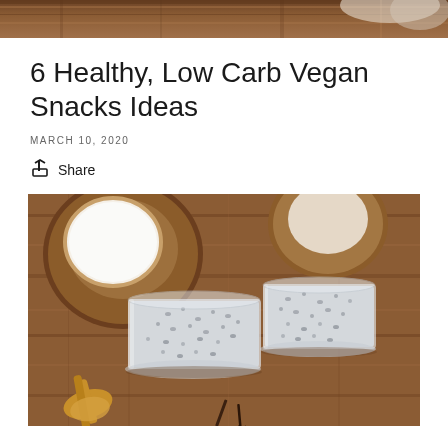[Figure (photo): Top strip photo showing wooden surface with food items, partially cropped at top]
6 Healthy, Low Carb Vegan Snacks Ideas
MARCH 10, 2020
Share
[Figure (photo): Two glass cups filled with chia seed pudding on a wooden table, with coconut halves in the background and a wooden spoon and vanilla bean in the foreground]